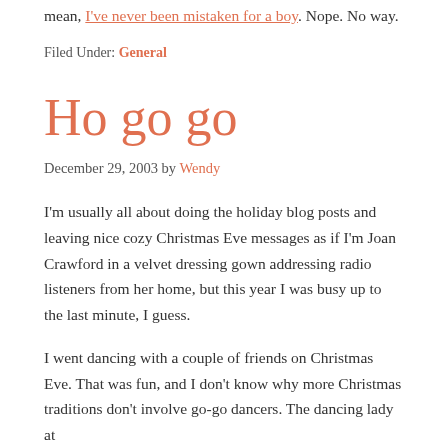mean, I've never been mistaken for a boy. Nope. No way.
Filed Under: General
Ho go go
December 29, 2003 by Wendy
I'm usually all about doing the holiday blog posts and leaving nice cozy Christmas Eve messages as if I'm Joan Crawford in a velvet dressing gown addressing radio listeners from her home, but this year I was busy up to the last minute, I guess.
I went dancing with a couple of friends on Christmas Eve. That was fun, and I don't know why more Christmas traditions don't involve go-go dancers. The dancing lady at